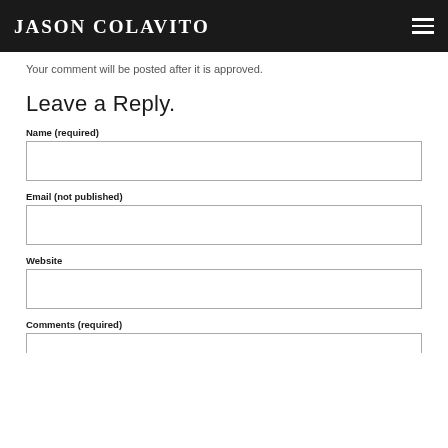JASON COLAVITO
Your comment will be posted after it is approved.
Leave a Reply.
Name (required)
Email (not published)
Website
Comments (required)